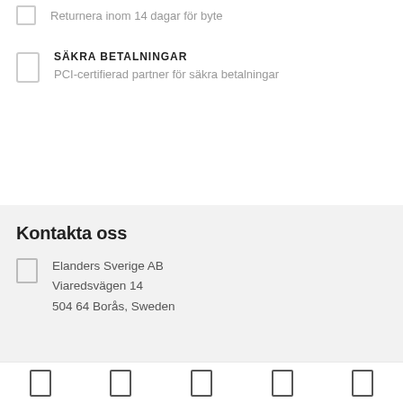Returnera inom 14 dagar för byte
SÄKRA BETALNINGAR
PCI-certifierad partner för säkra betalningar
Kontakta oss
Elanders Sverige AB
Viaredsvägen 14
504 64 Borås, Sweden